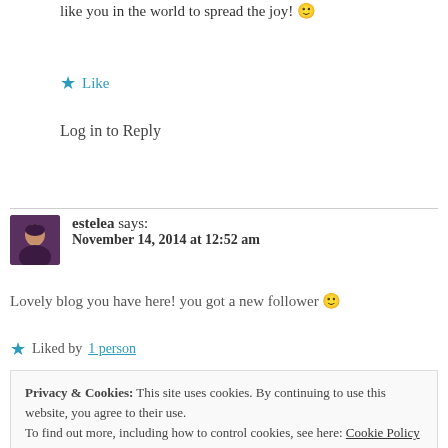like you in the world to spread the joy! 🙂
★ Like
Log in to Reply
estelea says: November 14, 2014 at 12:52 am
Lovely blog you have here! you got a new follower 🙂
★ Liked by 1 person
Privacy & Cookies: This site uses cookies. By continuing to use this website, you agree to their use. To find out more, including how to control cookies, see here: Cookie Policy Close and accept